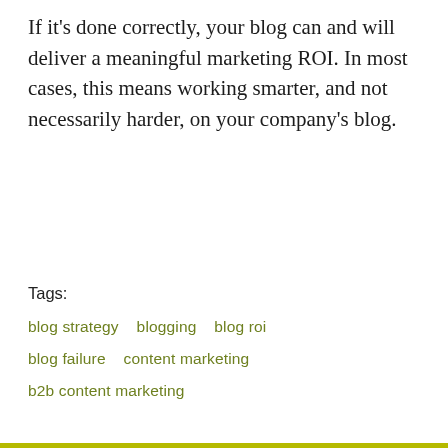If it's done correctly, your blog can and will deliver a meaningful marketing ROI. In most cases, this means working smarter, and not necessarily harder, on your company's blog.
Tags:
blog strategy   blogging   blog roi
blog failure   content marketing
b2b content marketing
[Figure (infographic): Social sharing icons: Facebook (f), Twitter (bird), LinkedIn (in)]
[Figure (other): Horizontal divider line with circular scroll-to-top button (chevron up arrow) and small red dot indicator]
Featured Posts
[Figure (other): Blue circular button with three horizontal dots (more options)]